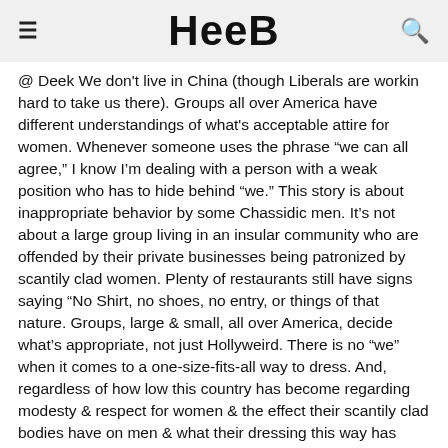HEEB
@ Deek We don't live in China (though Liberals are workin hard to take us there). Groups all over America have different understandings of what's acceptable attire for women. Whenever someone uses the phrase “we can all agree,” I know I’m dealing with a person with a weak position who has to hide behind “we.” This story is about inappropriate behavior by some Chassidic men. It’s not about a large group living in an insular community who are offended by their private businesses being patronized by scantily clad women. Plenty of restaurants still have signs saying “No Shirt, no shoes, no entry, or things of that nature. Groups, large & small, all over America, decide what’s appropriate, not just Hollyweird. There is no “we” when it comes to a one-size-fits-all way to dress. And, regardless of how low this country has become regarding modesty & respect for women & the effect their scantily clad bodies have on men & what their dressing this way has done to the country, there are still many tens of millions of Americans left who are trying to reverse this trend & who never took part in it. Until the ’50’s, all women & girls wore skirts & dresses in public, always. It wasn’t until the ’60’s that